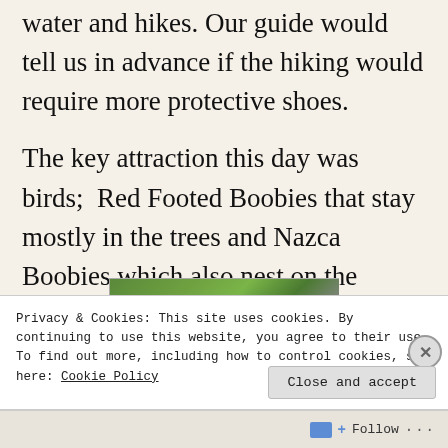water and hikes. Our guide would tell us in advance if the hiking would require more protective shoes.
The key attraction this day was birds;  Red Footed Boobies that stay mostly in the trees and Nazca Boobies which also nest on the ground and Frigate Birds.
[Figure (photo): Partial view of a green outdoor scene, possibly vegetation or grass area, cropped at top of image strip]
Privacy & Cookies: This site uses cookies. By continuing to use this website, you agree to their use.
To find out more, including how to control cookies, see here: Cookie Policy
Follow ...